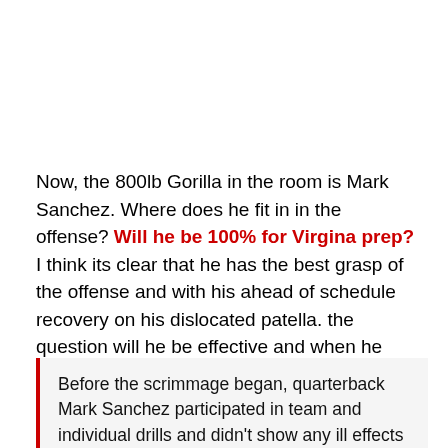Now, the 800lb Gorilla in the room is Mark Sanchez. Where does he fit in in the offense? Will he be 100% for Virgina prep? I think its clear that he has the best grasp of the offense and with his ahead of schedule recovery on his dislocated patella. the question will he be effective and when he starts to go through some real contact will the knee respond as it should.
Before the scrimmage began, quarterback Mark Sanchez participated in team and individual drills and didn't show any ill effects from his healing left knee.